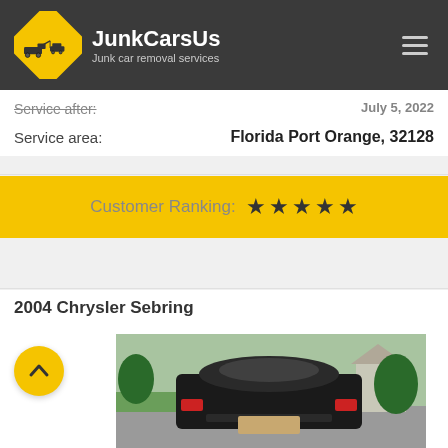JunkCarsUs — Junk car removal services
Service after: July 5, 2022
Service area: Florida Port Orange, 32128
Customer Ranking: ★★★★★
2004 Chrysler Sebring
[Figure (photo): Rear view of a black 2004 Chrysler Sebring convertible parked on a driveway with green lawn and trees in the background.]